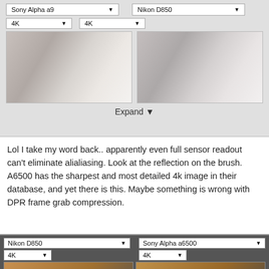[Figure (screenshot): Camera comparison widget showing Sony Alpha a9 vs Nikon D850 at 4K with preview panes and Expand button]
Lol I take my word back.. apparently even full sensor readout can't eliminate alialiasing. Look at the reflection on the brush. A6500 has the sharpest and most detailed 4k image in their database, and yet there is this. Maybe something is wrong with DPR frame grab compression.
[Figure (screenshot): Camera comparison widget showing Nikon D850 vs Sony Alpha a6500 at 4K with brush photo preview panes]